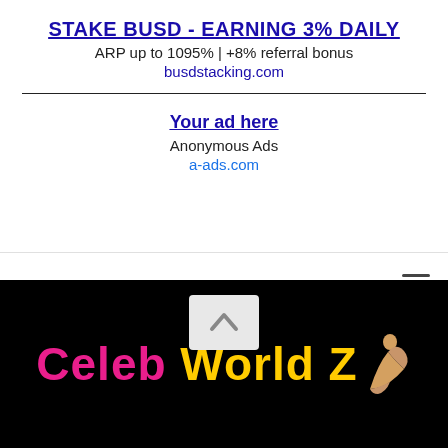STAKE BUSD - EARNING 3% DAILY
ARP up to 1095% | +8% referral bonus
busdstacking.com
Your ad here
Anonymous Ads
a-ads.com
[Figure (logo): Celeb World Z logo with colorful text on black background and a seated woman silhouette]
Celeb World Z